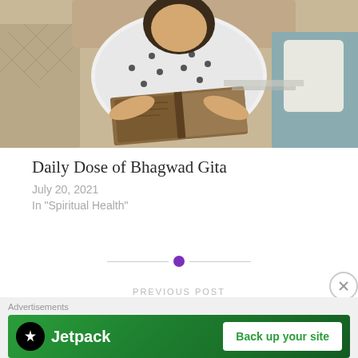[Figure (photo): A person sitting on a couch reading a book (Bhagwad Gita), photographed from above at an angle.]
Daily Dose of Bhagwad Gita
July 20, 2021
In "Spiritual Health"
[Figure (other): Decorative divider with a purple circle dot between two horizontal lines]
PREVIOUS POST
Stop Lying
Advertisements
[Figure (other): Jetpack advertisement banner with logo on the left and 'Back up your site' button on the right, green background.]